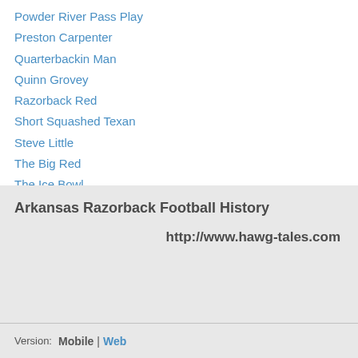Powder River Pass Play
Preston Carpenter
Quarterbackin Man
Quinn Grovey
Razorback Red
Short Squashed Texan
Steve Little
The Big Red
The Ice Bowl
"Tommy" Thomsen
Arkansas Razorback Football History
http://www.hawg-tales.com
Version: Mobile | Web